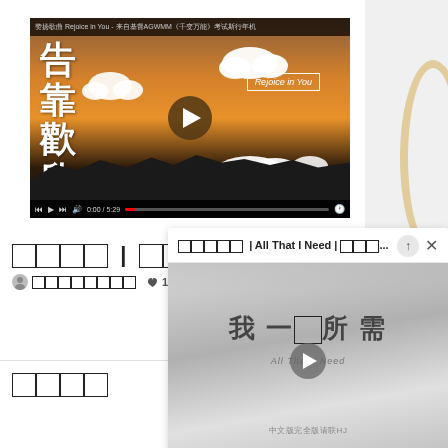[Figure (screenshot): YouTube video player showing a Chinese Christian music video 'Rejoice in You' with orange sunset background, Chinese characters, clouds, and play button]
□□□□ | □□□ (truncated post title)
□□□□□□□□  👍 1K
□□□□ (second post title)
□□□□□ | All That I Need | □□□...
[Figure (screenshot): Video thumbnail showing Chinese text '我一□所需' (All That I Need) in grayscale with play button and subtitle 'All That I Need']